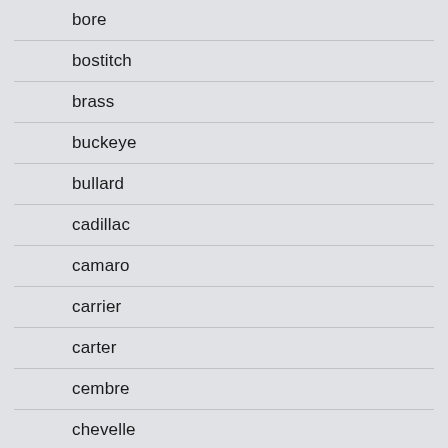bore
bostitch
brass
buckeye
bullard
cadillac
camaro
carrier
carter
cembre
chevelle
chevy